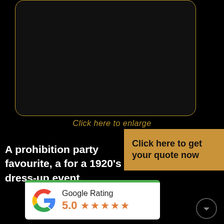[Figure (other): Dark rounded rectangle image placeholder with gold border]
Click here to enlarge
Click here to get your quote now
A prohibition party favourite, a for a 1920's dress-up event.
[Figure (other): Google Rating widget showing 5.0 stars with five filled star icons]